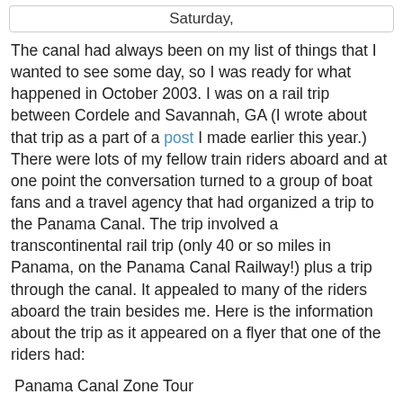Saturday,
The canal had always been on my list of things that I wanted to see some day, so I was ready for what happened in October 2003. I was on a rail trip between Cordele and Savannah, GA (I wrote about that trip as a part of a post I made earlier this year.) There were lots of my fellow train riders aboard and at one point the conversation turned to a group of boat fans and a travel agency that had organized a trip to the Panama Canal. The trip involved a transcontinental rail trip (only 40 or so miles in Panama, on the Panama Canal Railway!) plus a trip through the canal. It appealed to many of the riders aboard the train besides me. Here is the information about the trip as it appeared on a flyer that one of the riders had:
Panama Canal Zone Tour
4 Night 3 Day Canal Tour
Wednesday, January 14 through Sunday, January 18, 2004
Schedule Subject to Change:
Wednesday: get to Panama City on your own. Transfer to Courtyard & Suite...